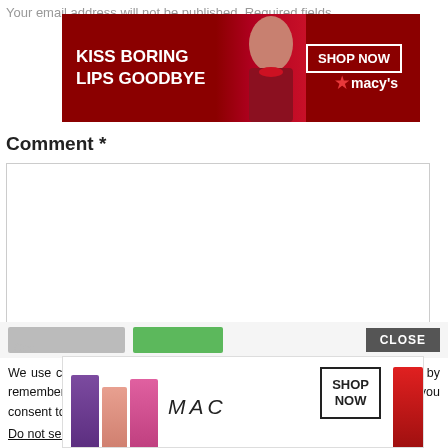Your email address will not be published. Required fields
[Figure (photo): Macy's advertisement banner with woman wearing red lipstick, text 'KISS BORING LIPS GOODBYE', SHOP NOW button, and Macy's star logo]
Comment *
We use cookies on our website to give you the most relevant experience by remembering your preferences and repeat visits. By clicking “Accept”, you consent to the use of ALL the cookies.
Do not sell my personal information.
[Figure (photo): MAC Cosmetics advertisement with colorful lipsticks and SHOP NOW button]